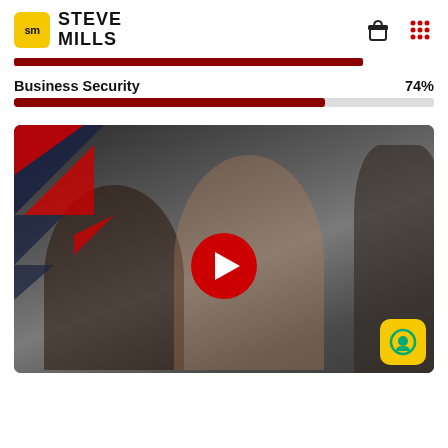STEVE MILLS
Business Security  74%
[Figure (illustration): Progress bar showing 74% completion for Business Security course, red fill on gray background]
[Figure (photo): Video thumbnail showing three business professionals smiling and talking, with a red play button overlay and geometric triangle decorations top-left, on the Steve Mills course platform]